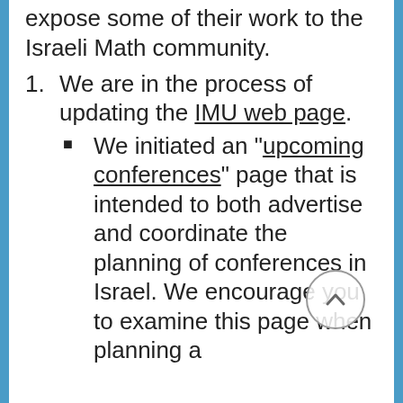expose some of their work to the Israeli Math community.
1. We are in the process of updating the IMU web page.
We initiated an "upcoming conferences" page that is intended to both advertise and coordinate the planning of conferences in Israel. We encourage you to examine this page when planning a